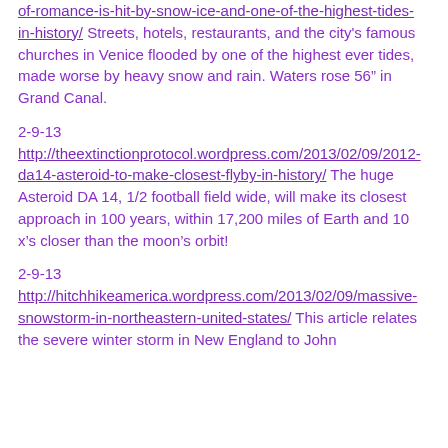of-romance-is-hit-by-snow-ice-and-one-of-the-highest-tides-in-history/  Streets, hotels, restaurants, and the city's famous churches in Venice flooded by one of the highest ever tides, made worse by heavy snow and rain.  Waters rose 56" in Grand Canal.
2-9-13
http://theextinctionprotocol.wordpress.com/2013/02/09/2012-da14-asteroid-to-make-closest-flyby-in-history/  The huge Asteroid DA 14, 1/2 football field wide, will make its closest approach in 100 years, within 17,200 miles of Earth and 10 x's closer than the moon's orbit!
2-9-13
http://hitchhikeamerica.wordpress.com/2013/02/09/massive-snowstorm-in-northeastern-united-states/  This article relates the severe winter storm in New England to John